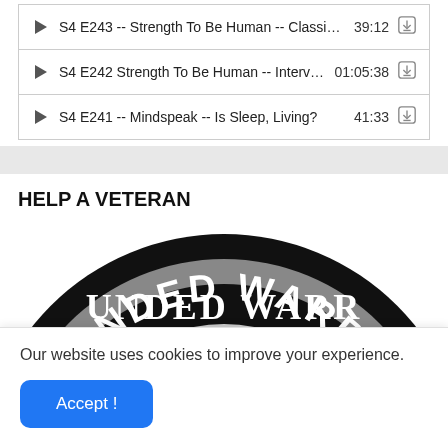S4 E243 -- Strength To Be Human -- Classic Spotl... 39:12
S4 E242 Strength To Be Human -- Interview Wi... 01:05:38
S4 E241 -- Mindspeak -- Is Sleep, Living? 41:33
HELP A VETERAN
[Figure (logo): Partial circular logo with text 'UNDED WARRI' visible and a soldier silhouette in the center, black and white]
Our website uses cookies to improve your experience.
Accept !